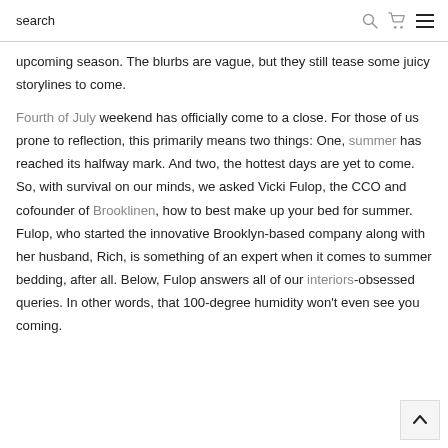search
upcoming season. The blurbs are vague, but they still tease some juicy storylines to come.
Fourth of July weekend has officially come to a close. For those of us prone to reflection, this primarily means two things: One, summer has reached its halfway mark. And two, the hottest days are yet to come. So, with survival on our minds, we asked Vicki Fulop, the CCO and cofounder of Brooklinen, how to best make up your bed for summer. Fulop, who started the innovative Brooklyn-based company along with her husband, Rich, is something of an expert when it comes to summer bedding, after all. Below, Fulop answers all of our interiors-obsessed queries. In other words, that 100-degree humidity won't even see you coming.